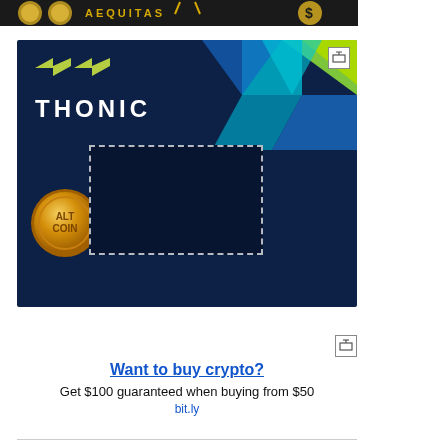[Figure (illustration): Top banner showing gold coins with 'AEQUITAS' text and crypto symbols]
[Figure (illustration): Thonic advertisement banner with dark navy background, colorful geometric triangles top right, Thonic logo and wordmark, gold ALT COIN coin bottom left, dashed rectangle placeholder in center]
[Figure (illustration): Crypto advertisement: 'Want to buy crypto?' headline in blue underlined, 'Get $100 guaranteed when buying from $50' subtext, 'bit.ly' link in blue]